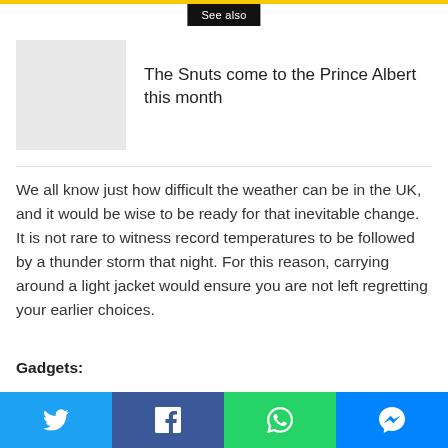See also
[Figure (photo): Placeholder image (light grey rectangle)]
The Snuts come to the Prince Albert this month
We all know just how difficult the weather can be in the UK, and it would be wise to be ready for that inevitable change. It is not rare to witness record temperatures to be followed by a thunder storm that night. For this reason, carrying around a light jacket would ensure you are not left regretting your earlier choices.
Gadgets:
Keeping on top of your gadgets will be key in making the most
Twitter | Facebook | WhatsApp | Messenger